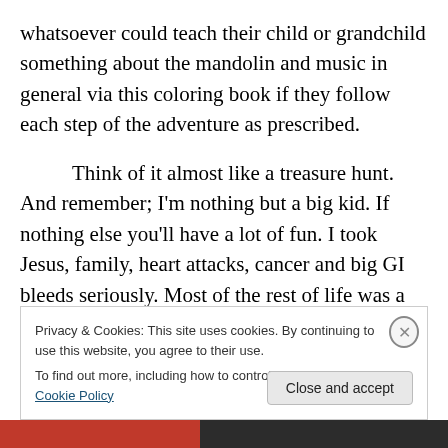whatsoever could teach their child or grandchild something about the mandolin and music in general via this coloring book if they follow each step of the adventure as prescribed.
Think of it almost like a treasure hunt. And remember; I'm nothing but a big kid. If nothing else you'll have a lot of fun. I took Jesus, family, heart attacks, cancer and big GI bleeds seriously. Most of the rest of life was a whimsical lark for me. I played music at the highest level I could, but I figured if I missed a note no one died. This little book
Privacy & Cookies: This site uses cookies. By continuing to use this website, you agree to their use.
To find out more, including how to control cookies, see here: Cookie Policy
Close and accept